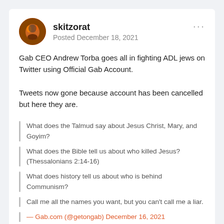[Figure (photo): User avatar photo showing a person, circular crop, orange/dark tones]
skitzorat
Posted December 18, 2021
Gab CEO Andrew Torba goes all in fighting ADL jews on Twitter using Official Gab Account.

Tweets now gone because account has been cancelled but here they are.
What does the Talmud say about Jesus Christ, Mary, and Goyim?
What does the Bible tell us about who killed Jesus? (Thessalonians 2:14-16)
What does history tell us about who is behind Communism?
Call me all the names you want, but you can't call me a liar.
— Gab.com (@getongab) December 16, 2021